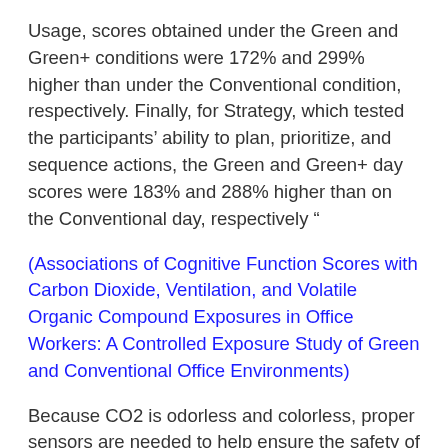Usage, scores obtained under the Green and Green+ conditions were 172% and 299% higher than under the Conventional condition, respectively. Finally, for Strategy, which tested the participants' ability to plan, prioritize, and sequence actions, the Green and Green+ day scores were 183% and 288% higher than on the Conventional day, respectively ”
(Associations of Cognitive Function Scores with Carbon Dioxide, Ventilation, and Volatile Organic Compound Exposures in Office Workers: A Controlled Exposure Study of Green and Conventional Office Environments)
Because CO2 is odorless and colorless, proper sensors are needed to help ensure the safety of personnel.